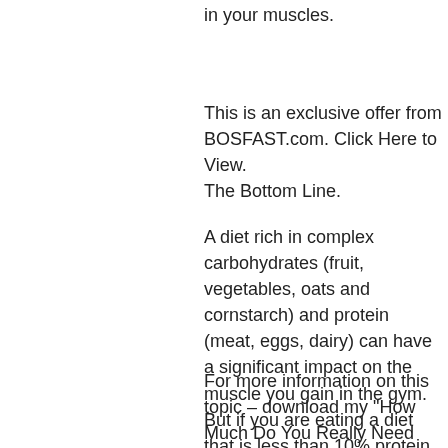in your muscles.
This is an exclusive offer from BOSFAST.com. Click Here to View.
The Bottom Line.
A diet rich in complex carbohydrates (fruit, vegetables, oats and cornstarch) and protein (meat, eggs, dairy) can have a significant impact on the muscle you gain in the gym. But if you are eating a diet that is less than 10% protein, you need to focus on getting muscle.
For more information on this topic – download my "How Much Do You Really Need Protein?" eBook by clicking Here.
To Get the Most Out of this Article, Click He...